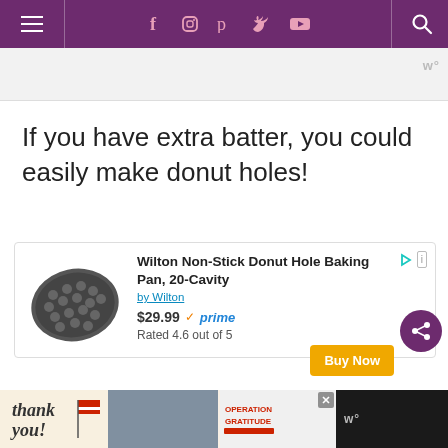Navigation bar with hamburger menu, social icons (Facebook, Instagram, Pinterest, Twitter, YouTube), and search
If you have extra batter, you could easily make donut holes!
[Figure (other): Amazon product advertisement: Wilton Non-Stick Donut Hole Baking Pan, 20-Cavity by Wilton, $29.99, Prime eligible, Rated 4.6 out of 5, with Buy Now button]
[Figure (photo): Partial photo of a person visible at bottom of page]
Thank you - Operation Gratitude advertisement banner